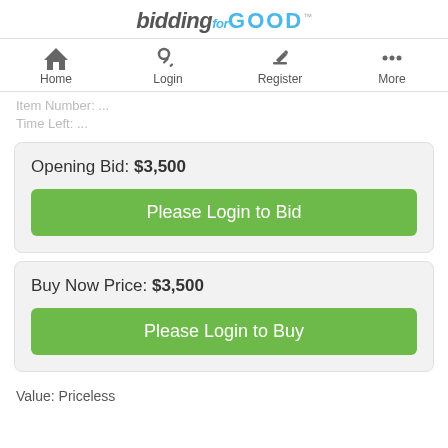biddingforGOOD
[Figure (screenshot): Navigation bar with Home, Login, Register, More icons]
Item Number: ... Time Left: ...
Opening Bid: $3,500
Please Login to Bid
Buy Now Price: $3,500
Please Login to Buy
Value: Priceless